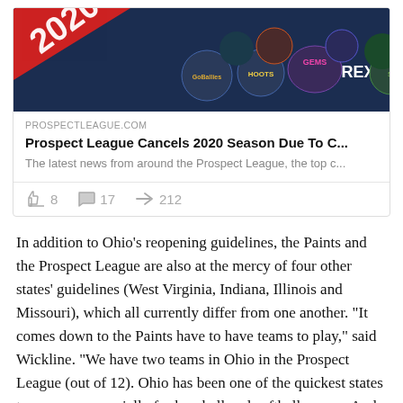[Figure (screenshot): Social media card showing Prospect League 2020 team logos banner image with dark navy background, followed by source PROSPECTLEAGUE.COM, article title 'Prospect League Cancels 2020 Season Due To C...', description 'The latest news from around the Prospect League, the top c...', and engagement icons: thumbs up 8, comment 17, share 212]
In addition to Ohio's reopening guidelines, the Paints and the Prospect League are also at the mercy of four other states' guidelines (West Virginia, Indiana, Illinois and Missouri), which all currently differ from one another. "It comes down to the Paints have to have teams to play," said Wickline. "We have two teams in Ohio in the Prospect League (out of 12). Ohio has been one of the quickest states to open up, especially for baseball and softball games. And, for that, we're very thankful."
Although the Paints won't be playing baseball for the first time since their last season in 1999, they say that they will be...